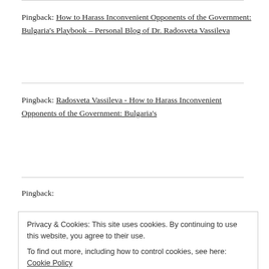Pingback: How to Harass Inconvenient Opponents of the Government: Bulgaria's Playbook – Personal Blog of Dr. Radosveta Vassileva
Pingback: Radosveta Vassileva - How to Harass Inconvenient Opponents of the Government: Bulgaria's
Privacy & Cookies: This site uses cookies. By continuing to use this website, you agree to their use. To find out more, including how to control cookies, see here: Cookie Policy